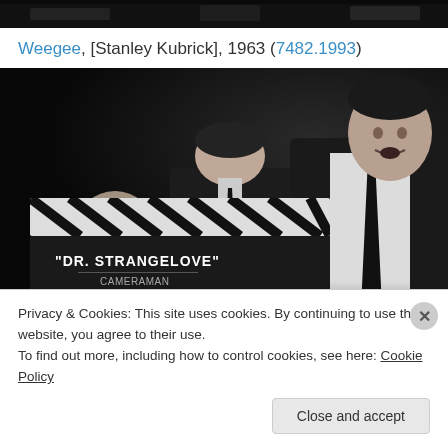[Figure (photo): Top edge of a black and white photograph, cropped]
Weegee, [Stanley Kubrick], 1963 (7482.1993)
[Figure (photo): Black and white photograph on the set of Dr. Strangelove (1963). A clapperboard reading 'DR. STRANGELOVE' and 'CAMERAMAN' is visible in the foreground left. Three men are visible: one with glasses partially obscured by the clapperboard, one in a dark suit looking down in the center, and one in a white shirt with a dark tie on the right.]
Privacy & Cookies: This site uses cookies. By continuing to use this website, you agree to their use.
To find out more, including how to control cookies, see here: Cookie Policy